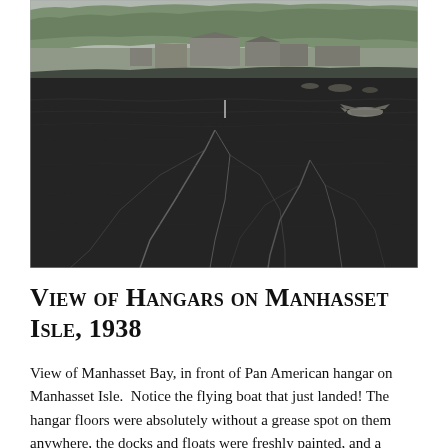[Figure (photo): Aerial black and white photograph of Manhasset Bay showing Pan American hangar on Manhasset Isle, 1938. The image shows a coastline with buildings and hangars visible along the shore, boats and a flying boat on the water, and wake patterns from motorboats in the dark water in the foreground.]
View of Hangars on Manhasset Isle, 1938
View of Manhasset Bay, in front of Pan American hangar on Manhasset Isle.  Notice the flying boat that just landed! The hangar floors were absolutely without a grease spot on them anywhere, the docks and floats were freshly painted, and a